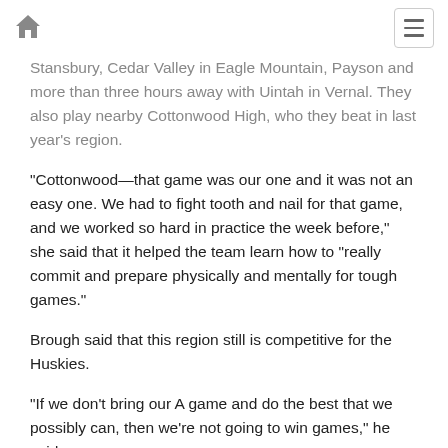[home icon] [menu icon]
Stansbury, Cedar Valley in Eagle Mountain, Payson and more than three hours away with Uintah in Vernal. They also play nearby Cottonwood High, who they beat in last year’s region.
“Cottonwood—that game was our one and it was not an easy one. We had to fight tooth and nail for that game, and we worked so hard in practice the week before,” she said that it helped the team learn how to “really commit and prepare physically and mentally for tough games.”
Brough said that this region still is competitive for the Huskies.
“If we don’t bring our A game and do the best that we possibly can, then we’re not going to win games,” he said.